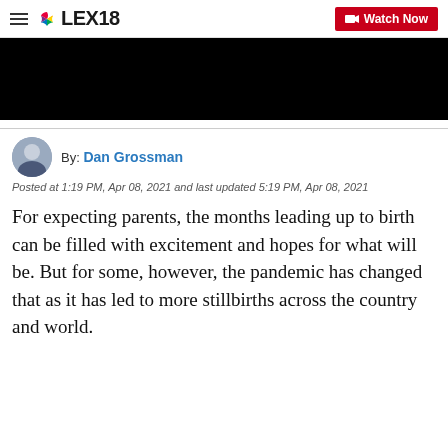LEX18 — Watch Now
[Figure (screenshot): Black video player block]
By: Dan Grossman
Posted at 1:19 PM, Apr 08, 2021 and last updated 5:19 PM, Apr 08, 2021
For expecting parents, the months leading up to birth can be filled with excitement and hopes for what will be. But for some, however, the pandemic has changed that as it has led to more stillbirths across the country and world.